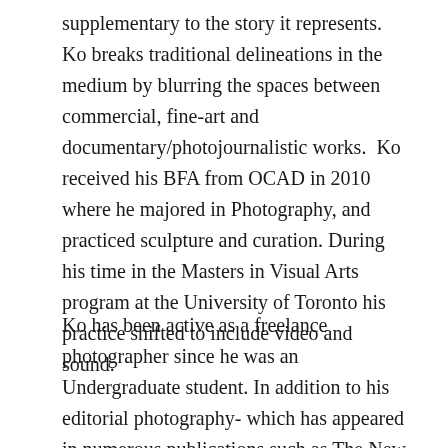supplementary to the story it represents. Ko breaks traditional delineations in the medium by blurring the spaces between commercial, fine-art and documentary/photojournalistic works.  Ko received his BFA from OCAD in 2010 where he majored in Photography, and practiced sculpture and curation. During his time in the Masters in Visual Arts program at the University of Toronto his practice shifted to include video and sound.
Ko has been active as a freelance photographer since he was an Undergraduate student. In addition to his editorial photography- which has appeared in numerous publications such as The New Yorker, New York Times, Vogue and Flux magazines, to name a few, he maintains